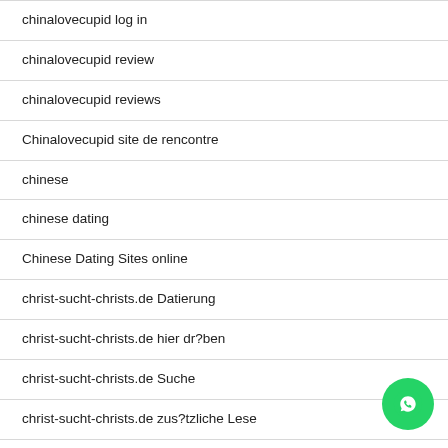chinalovecupid log in
chinalovecupid review
chinalovecupid reviews
Chinalovecupid site de rencontre
chinese
chinese dating
Chinese Dating Sites online
christ-sucht-christs.de Datierung
christ-sucht-christs.de hier dr?ben
christ-sucht-christs.de Suche
christ-sucht-christs.de zus?tzliche Lese
Christian Connection comment fonctionne